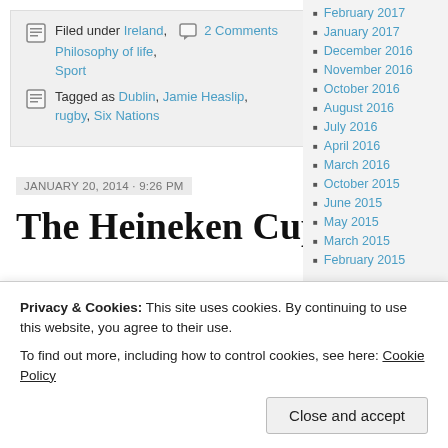Filed under Ireland, Philosophy of life, Sport | 2 Comments
Tagged as Dublin, Jamie Heaslip, rugby, Six Nations
JANUARY 20, 2014 · 9:26 PM
The Heineken Cup
February 2017
January 2017
December 2016
November 2016
October 2016
August 2016
July 2016
April 2016
March 2016
October 2015
June 2015
May 2015
March 2015
February 2015
Privacy & Cookies: This site uses cookies. By continuing to use this website, you agree to their use. To find out more, including how to control cookies, see here: Cookie Policy
Close and accept